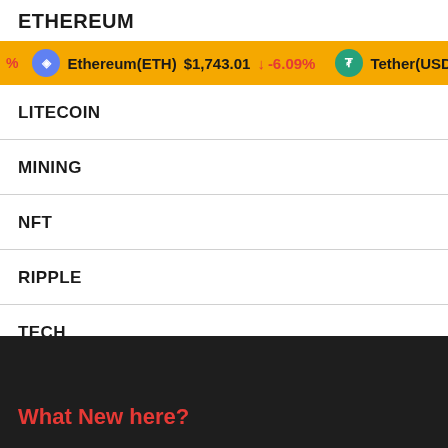ETHEREUM
[Figure (infographic): Cryptocurrency ticker bar showing Ethereum(ETH) $1,743.01 down -6.09% and Tether(USDT) $1...]
LITECOIN
MINING
NFT
RIPPLE
TECH
TRADING
What New here?